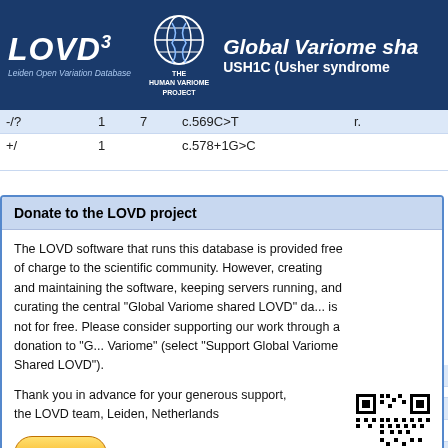LOVD3 — Global Variome shared LOVD — USH1C (Usher syndrome)
| Genotype | Alleles | Exon | DNA change |  |
| --- | --- | --- | --- | --- |
| -/? |  | 1 | 7 | c.569C>T | r. |
| +/ |  | 1 |  | c.578+1G>C |  |
| +/+ | 2 | 8 |  | c.672C>A | r. |
| -/. | 1 | - |  | c.674+4G>A | r. |
| -/? | 1 | 8i |  | c.674+51G>A | r. |
| -?/. | 1 | - |  | c.732C>T | r. |
| +/., +?/. | 2 | - |  | c.748_759+5del | r. |
| +/+ | 1 | 9 |  | c.751_759+3del | r. |
| -/. | 1 | - |  | c.759+20C>T | r. |
| -/- | 1 | 9i |  | c.760-31A>C | r. |
Donate to the LOVD project
The LOVD software that runs this database is provided free of charge to the scientific community. However, creating and maintaining the software, keeping servers running, and curating the central "Global Variome shared LOVD" database is not for free. Please consider supporting our work through a donation to "Global Variome" (select "Support Global Variome Shared LOVD").
Thank you in advance for your generous support,
the LOVD team, Leiden, Netherlands